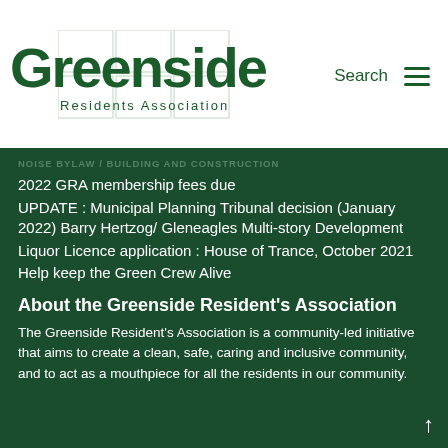[Figure (logo): Greenside Residents Association logo with dark green text and geometric grid lines in background]
Search  ☰
NOISE BYLAW / BUILDING AND CONSTRUCTION
2022 GRA membership fees due
UPDATE : Municipal Planning Tribunal decision (January 2022) Barry Hertzog/ Gleneagles Multi-story Development
Liquor Licence application : House of Trance, October 2021
Help keep the Green Crew Alive
About the Greenside Resident's Association
The Greenside Resident's Association is a community-led initiative that aims to create a clean, safe, caring and inclusive community, and to act as a mouthpiece for all the residents in our community.